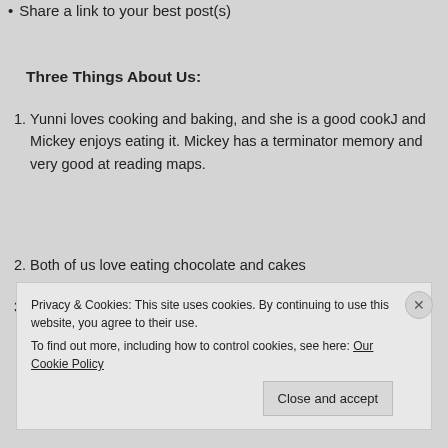Share a link to your best post(s)
Three Things About Us:
Yunni loves cooking and baking, and she is a good cookJ and Mickey enjoys eating it. Mickey has a terminator memory and very good at reading maps.
Both of us love eating chocolate and cakes
Both of us love travelling and exploring new places
Privacy & Cookies: This site uses cookies. By continuing to use this website, you agree to their use.
To find out more, including how to control cookies, see here: Our Cookie Policy